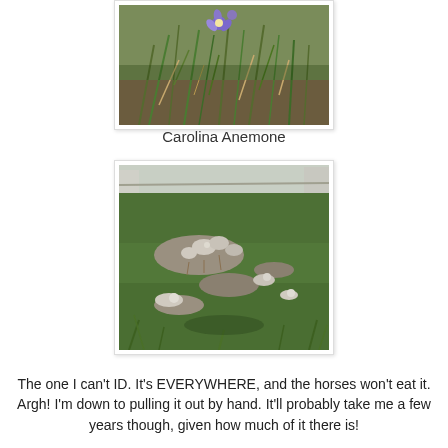[Figure (photo): Photo of Carolina Anemone plant with purple/blue flowers and grassy stems]
Carolina Anemone
[Figure (photo): Photo of a grassy field/pasture with an unidentified weedy plant growing throughout]
The one I can't ID. It's EVERYWHERE, and the horses won't eat it. Argh! I'm down to pulling it out by hand. It'll probably take me a few years though, given how much of it there is!